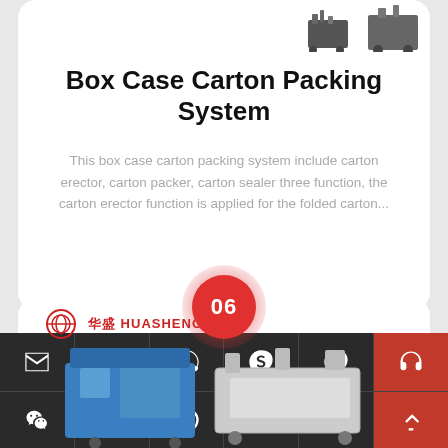[Figure (photo): Partial view of packaging machine at top right of card]
Box Case Carton Packing System
This box case carton packing system include carton erector, carton packer, carton sealer three function, the carton erector function is applied for the folded carton...
06
[Figure (logo): HUASHENG company logo with Chinese characters 华盛 and circular emblem]
[Figure (photo): Carton packing machine equipment photographed from above]
[Figure (infographic): Footer navigation bar with email, WhatsApp, Skype, and other contact icons on dark background]